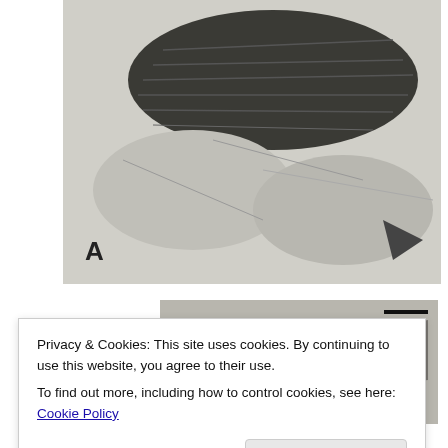[Figure (photo): Black and white photograph labeled A showing a fossil specimen with dark feather-like impressions on rock matrix]
[Figure (photo): Black and white photograph labeled B showing a fossil specimen with scale bar, depicting fin or feather-like structures on rough rock matrix]
Privacy & Cookies: This site uses cookies. By continuing to use this website, you agree to their use. To find out more, including how to control cookies, see here: Cookie Policy
Close and accept
were overlooked in prior studies.